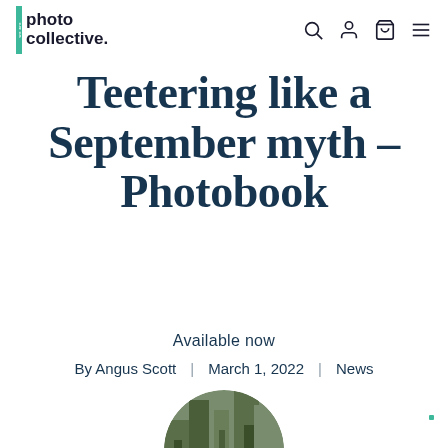we are photo collective.
Teetering like a September myth – Photobook
Available now
By Angus Scott | March 1, 2022 | News
[Figure (photo): Circular cropped photograph showing trees or forest scenery, partially visible at the bottom of the page]